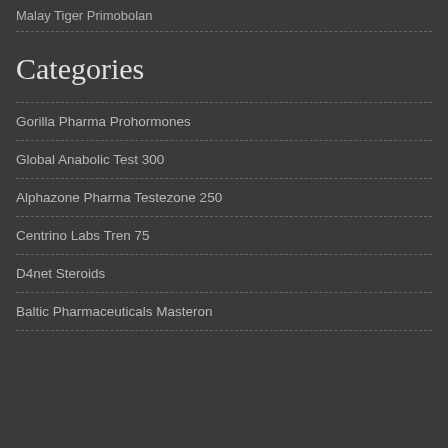Malay Tiger Primobolan
Categories
Gorilla Pharma Prohormones
Global Anabolic Test 300
Alphazone Pharma Testezone 250
Centrino Labs Tren 75
D4net Steroids
Baltic Pharmaceuticals Masteron